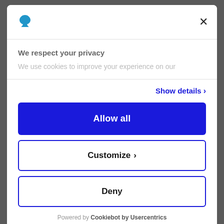[Figure (logo): Blue spade/leaf icon logo in modal header top-left]
We respect your privacy
We use cookies to improve your experience on our
Show details >
Allow all
Customize >
Deny
Powered by Cookiebot by Usercentrics
covering areas such as event accredation and